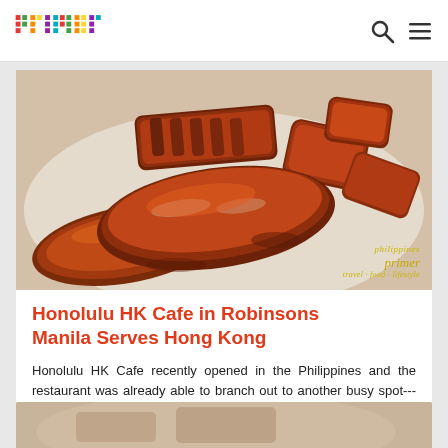primer
[Figure (photo): Close-up photo of Hong Kong style BBQ char siu pork pieces on a white plate, with a 'primer' watermark in the bottom right corner]
Honolulu HK Cafe in Robinsons Manila Serves Hong Kong
Honolulu HK Cafe recently opened in the Philippines and the restaurant was already able to branch out to another busy spot--- Robinsons Manila.
TAGS: Manila Bread 2019 Chinese Bread 2019